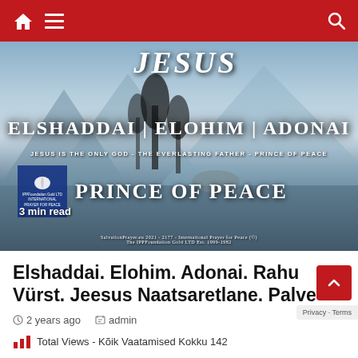Navigation bar with home, menu, and search icons
[Figure (photo): Hero image with mountain lake background, trees, text overlays: JESUS, ELSHADDAI | ELOHIM | ADONAI, JESUS IS THE ONLY GOD - THE EVERLASTING FATHER - PRINCE OF PEACE, PRINCE OF PEACE, 3 min read, SalvationPrayer.eu 2021-2177 International Prayer for Peace, The IPPFoundation Gold LTD Est. 1999-1982]
Elshaddai. Elohim. Adonai. Rahu Vürst. Jeesus Naatsaretlane. Palve
2 years ago   admin
Total Views - Kõik Vaatamised Kokku 142